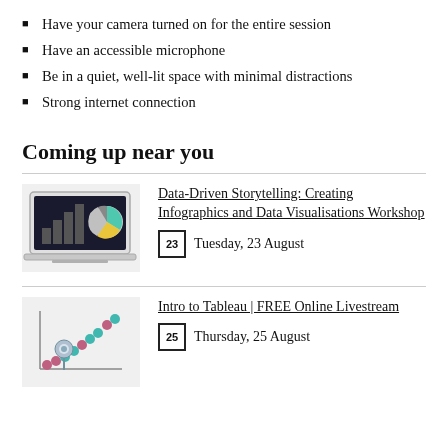Have your camera turned on for the entire session
Have an accessible microphone
Be in a quiet, well-lit space with minimal distractions
Strong internet connection
Coming up near you
[Figure (illustration): Laptop with bar chart and pie chart on screen]
Data-Driven Storytelling: Creating Infographics and Data Visualisations Workshop
Tuesday, 23 August
[Figure (illustration): Scatter plot illustration with pushpin and colorful dots]
Intro to Tableau | FREE Online Livestream
Thursday, 25 August